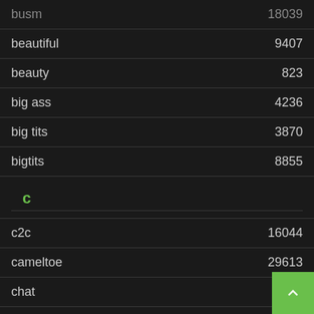| term | count |
| --- | --- |
| busm | 18039 |
| beautiful | 9407 |
| beauty | 823 |
| big ass | 4236 |
| big tits | 3870 |
| bigtits | 8855 |
| c |  |
| c2c | 16044 |
| cameltoe | 29613 |
| chat | 2459 |
| cheapest | 7 |
| chubby | 2443 |
| clit | 183 |
| cock | 70 |
| college | 5576 |
| colombian |  |